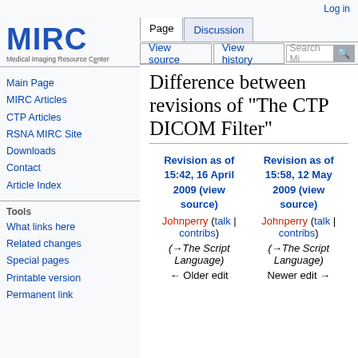Log in
[Figure (logo): MIRC - Medical Imaging Resource Center logo with blue bold text]
Main Page
MIRC Articles
CTP Articles
RSNA MIRC Site
Downloads
Contact
Article Index
Tools
What links here
Related changes
Special pages
Printable version
Permanent link
Difference between revisions of "The CTP DICOM Filter"
| Revision as of 15:42, 16 April 2009 (view source) | Revision as of 15:58, 12 May 2009 (view source) |
| --- | --- |
| Johnperry (talk | contribs) | Johnperry (talk | contribs) |
| (→The Script Language) | (→The Script Language) |
| ← Older edit | Newer edit → |